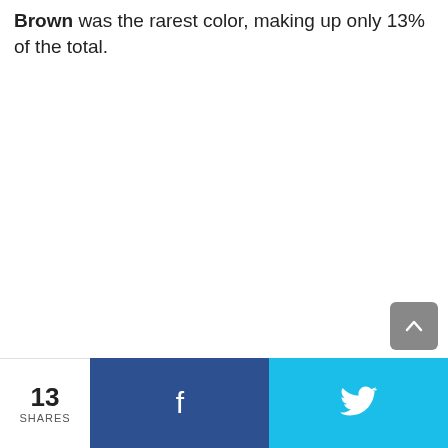Brown was the rarest color, making up only 13% of the total.
13 SHARES | Facebook | Twitter